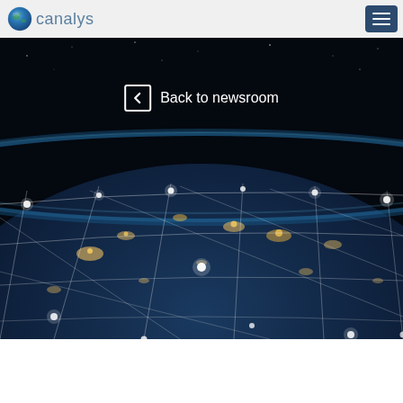[Figure (logo): Canalys logo with globe icon and text 'canalys']
[Figure (other): Hamburger menu button (three horizontal lines) on dark blue background]
[Figure (photo): Satellite view of Earth at night showing city lights and a geometric network grid overlay with glowing nodes and connecting lines across the globe surface]
Back to newsroom